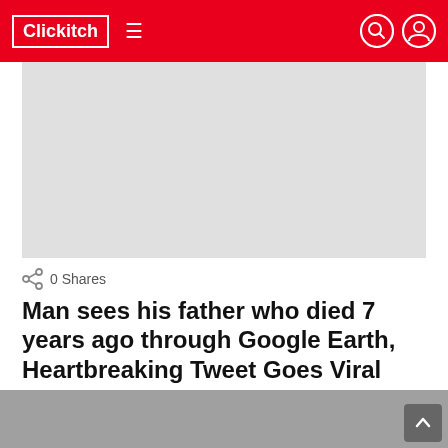Clickitch
[Figure (other): Light gray rectangular advertisement placeholder area]
0 Shares
Man sees his father who died 7 years ago through Google Earth, Heartbreaking Tweet Goes Viral
by Peter Gonzales
2 years ago
[Figure (photo): Dark gray image at bottom of page, partially visible]